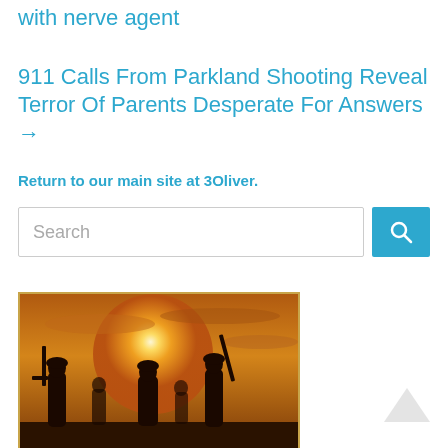with nerve agent
911 Calls From Parkland Shooting Reveal Terror Of Parents Desperate For Answers →
Return to our main site at 3Oliver.
[Figure (other): Search bar with blue search button]
[Figure (photo): Silhouette of armed figures against a sunset sky]